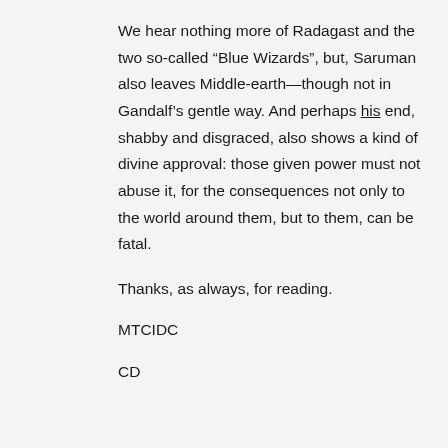We hear nothing more of Radagast and the two so-called “Blue Wizards”, but, Saruman also leaves Middle-earth—though not in Gandalf’s gentle way. And perhaps his end, shabby and disgraced, also shows a kind of divine approval: those given power must not abuse it, for the consequences not only to the world around them, but to them, can be fatal.
Thanks, as always, for reading.
MTCIDC
CD
PS
Our title is an adaptation of the first line of W.B. Yeats’